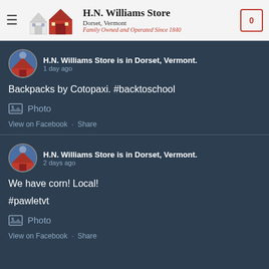H.N. Williams Store — Dorset, Vermont — Family Owned and Operated Since 1840
H.N. Williams Store is in Dorset, Vermont.
1 day ago

Backpacks by Cotopaxi. #backtoschool

Photo

View on Facebook · Share
H.N. Williams Store is in Dorset, Vermont.
2 days ago

We have corn! Local!

#pawletvt

Photo

View on Facebook · Share